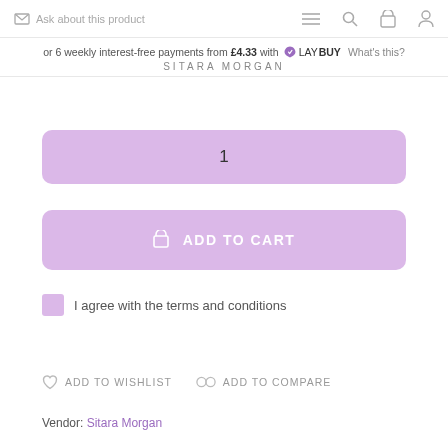Ask about this product
or 6 weekly interest-free payments from £4.33 with LAYBUY What's this? SITARA MORGAN
1
ADD TO CART
I agree with the terms and conditions
ADD TO WISHLIST  ADD TO COMPARE
Vendor: Sitara Morgan